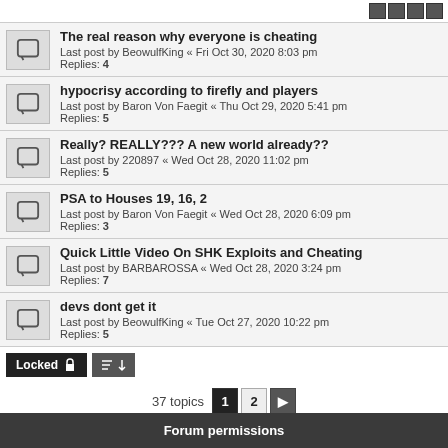The real reason why everyone is cheating
Last post by BeowulfKing « Fri Oct 30, 2020 8:03 pm
Replies: 4
hypocrisy according to firefly and players
Last post by Baron Von Faegit « Thu Oct 29, 2020 5:41 pm
Replies: 5
Really? REALLY??? A new world already??
Last post by 220897 « Wed Oct 28, 2020 11:02 pm
Replies: 5
PSA to Houses 19, 16, 2
Last post by Baron Von Faegit « Wed Oct 28, 2020 6:09 pm
Replies: 3
Quick Little Video On SHK Exploits and Cheating
Last post by BARBAROSSA « Wed Oct 28, 2020 3:24 pm
Replies: 7
devs dont get it
Last post by BeowulfKing « Tue Oct 27, 2020 10:22 pm
Replies: 5
37 topics  1  2  ▶
Jump to
Forum permissions